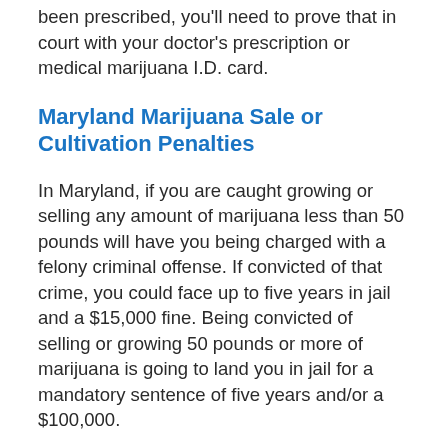been prescribed, you'll need to prove that in court with your doctor's prescription or medical marijuana I.D. card.
Maryland Marijuana Sale or Cultivation Penalties
In Maryland, if you are caught growing or selling any amount of marijuana less than 50 pounds will have you being charged with a felony criminal offense. If convicted of that crime, you could face up to five years in jail and a $15,000 fine. Being convicted of selling or growing 50 pounds or more of marijuana is going to land you in jail for a mandatory sentence of five years and/or a $100,000.
If you sell any amount of marijuana within